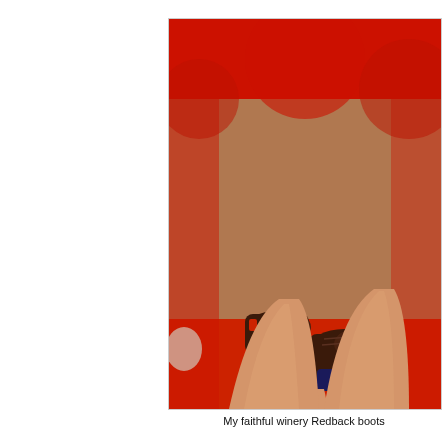[Figure (photo): A person's legs and feet wearing brown leather Redback boots with navy blue socks, photographed from above looking down. The floor visible is carpet with a reddish tint at the edges and tan/brown in the middle.]
My faithful winery Redback boots